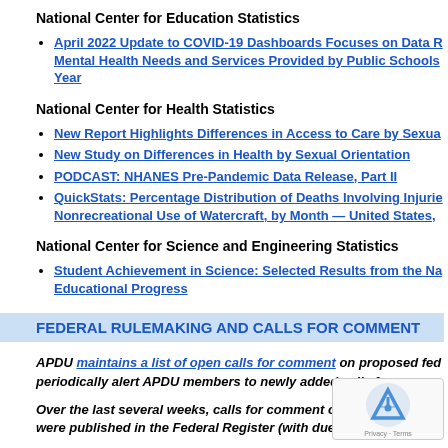National Center for Education Statistics
April 2022 Update to COVID-19 Dashboards Focuses on Data R… Mental Health Needs and Services Provided by Public Schools Year
National Center for Health Statistics
New Report Highlights Differences in Access to Care by Sexua…
New Study on Differences in Health by Sexual Orientation
PODCAST: NHANES Pre-Pandemic Data Release, Part II
QuickStats: Percentage Distribution of Deaths Involving Injurie… Nonrecreational Use of Watercraft, by Month — United States, …
National Center for Science and Engineering Statistics
Student Achievement in Science: Selected Results from the Na… Educational Progress
FEDERAL RULEMAKING AND CALLS FOR COMMENT
APDU maintains a list of open calls for comment on proposed fed… periodically alert APDU members to newly added calls for comme…
Over the last several weeks, calls for comment on the … were published in the Federal Register (with due date).